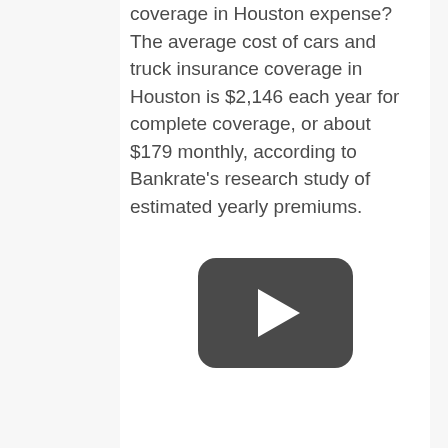coverage in Houston expense? The average cost of cars and truck insurance coverage in Houston is $2,146 each year for complete coverage, or about $179 monthly, according to Bankrate's research study of estimated yearly premiums.
[Figure (other): YouTube-style video play button thumbnail — dark rounded rectangle with white triangular play arrow in the center]